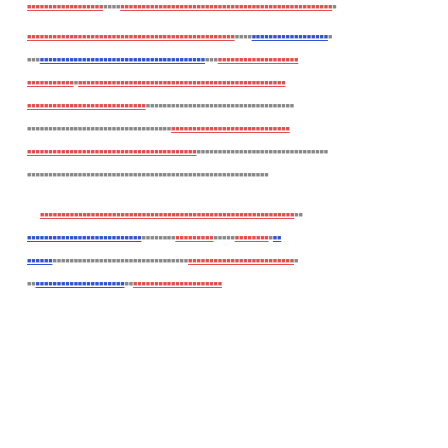[redacted legal document text with hyperlinks - mixed red and blue underlined link segments with gray body text]